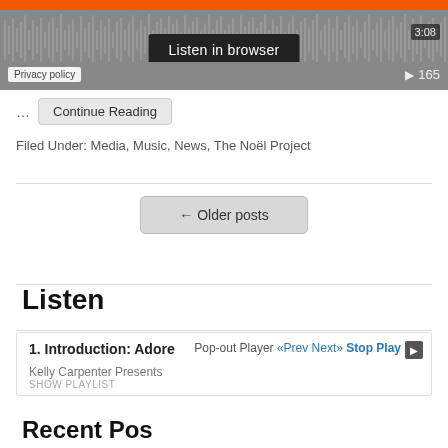[Figure (screenshot): Audio player widget with orange progress bar, waveform visualization, 'Listen in browser' button, privacy policy label, 3:08 timestamp, and play count 165]
… Continue Reading
Filed Under: Media, Music, News, The Noël Project
← Older posts
Listen
1. Introduction: Adore  Pop-out Player  «Prev Next»  Stop Play  Kelly Carpenter Presents  SHOW PLAYLIST